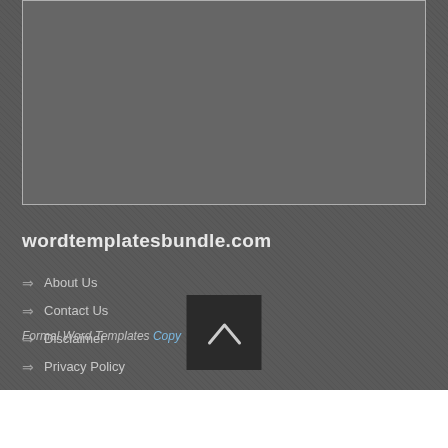[Figure (other): Gray placeholder image box with border]
wordtemplatesbundle.com
About Us
Contact Us
Disclaimer
Privacy Policy
[Figure (other): Dark back-to-top button with upward chevron arrow]
Formal Word Templates Copy